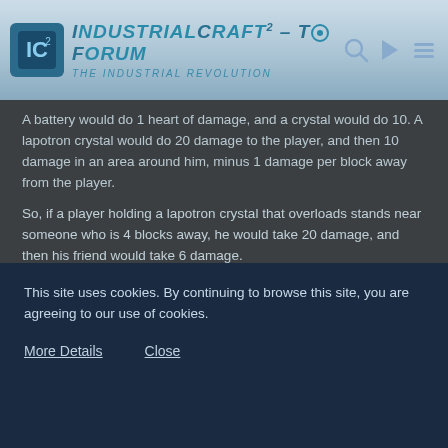IndustrialCraft² - The Forum - The Industrial Revolution
A battery would do 1 heart of damage, and a crystal would do 10. A lapotron crystal would do 20 damage to the player, and then 10 damage in an area around him, minus 1 damage per block away from the player.
So, if a player holding a lapotron crystal that overloads stands near someone who is 4 blocks away, he would take 20 damage, and then his friend would take 6 damage.
Cost of item:
One mining laser, with three iridium plates on top of it, two lapotron crystals on the side, and an advanced circuit on the bottom.
This site uses cookies. By continuing to browse this site, you are agreeing to our use of cookies.
More Details   Close